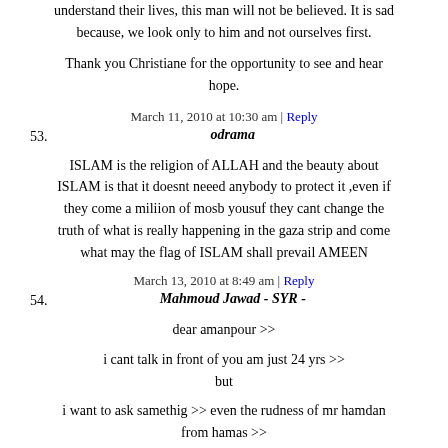understand their lives, this man will not be believed. It is sad because, we look only to him and not ourselves first.
Thank you Christiane for the opportunity to see and hear hope.
March 11, 2010 at 10:30 am | Reply
53. odrama
ISLAM is the religion of ALLAH and the beauty about ISLAM is that it doesnt neeed anybody to protect it ,even if they come a miliion of mosb yousuf they cant change the truth of what is really happening in the gaza strip and come what may the flag of ISLAM shall prevail AMEEN
March 13, 2010 at 8:49 am | Reply
54. Mahmoud Jawad - SYR -
dear amanpour >>
i cant talk in front of you am just 24 yrs >> but
i want to ask samethig >> even the rudness of mr hamdan from hamas >>
but its seeems he want to say samthing and you just block